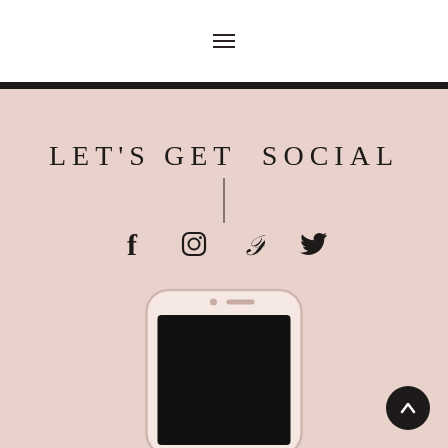≡ (hamburger menu icon)
LET'S GET SOCIAL
[Figure (illustration): Four social media icons: Facebook (f), Instagram (camera), Pinterest (P), Twitter (bird)]
[Figure (photo): A white smartphone with black screen, partially visible at bottom of page]
[Figure (illustration): Dark circular scroll-to-top button with upward chevron arrow in bottom right corner]